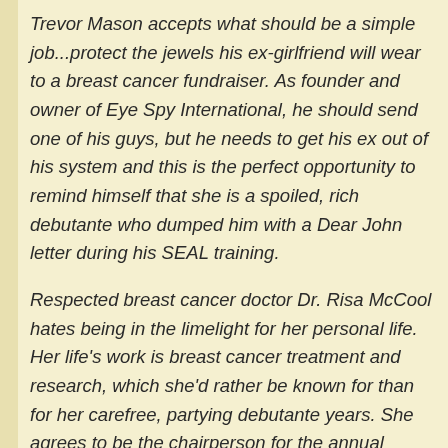Trevor Mason accepts what should be a simple job...protect the jewels his ex-girlfriend will wear to a breast cancer fundraiser. As founder and owner of Eye Spy International, he should send one of his guys, but he needs to get his ex out of his system and this is the perfect opportunity to remind himself that she is a spoiled, rich debutante who dumped him with a Dear John letter during his SEAL training.
Respected breast cancer doctor Dr. Risa McCool hates being in the limelight for her personal life. Her life's work is breast cancer treatment and research, which she'd rather be known for than for her carefree, partying debutante years. She agrees to be the chairperson for the annual breast cancer fundraiser, though it means being in the limelight...